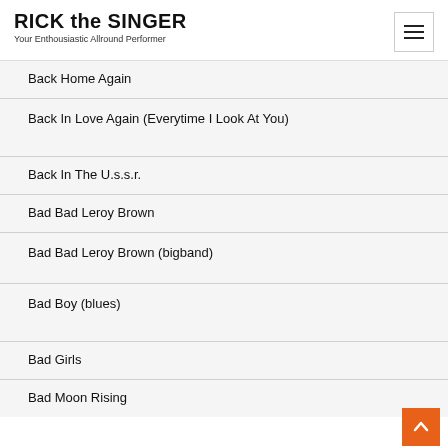RICK the SINGER
Your Enthousiastic Allround Performer
Back Home Again
Back In Love Again (Everytime I Look At You)
Back In The U.s.s.r.
Bad Bad Leroy Brown
Bad Bad Leroy Brown (bigband)
Bad Boy (blues)
Bad Girls
Bad Moon Rising